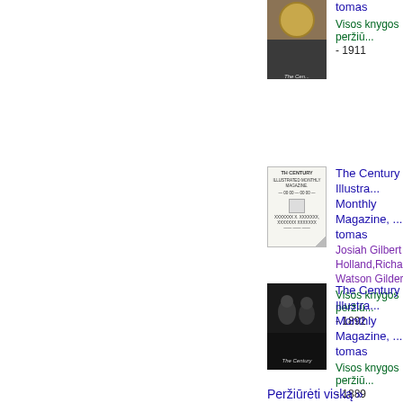[Figure (illustration): Book cover thumbnail for The Century Illustrated Monthly Magazine, first entry - shows medal/circular emblem on dark background with 'The Cen...' text]
tomas
Visos knygos peržiū...
- 1911
[Figure (illustration): Book cover thumbnail for The Century Illustrated Monthly Magazine 1892 - shows text listing style cover with title text]
The Century Illustra... Monthly Magazine, ... tomas
Josiah Gilbert Holland,Richard Watson Gilder
Visos knygos peržiū...
- 1892
[Figure (photo): Book cover thumbnail for The Century Illustrated Monthly Magazine 1889 - dark photo showing two figures, 'The Century' text at bottom]
The Century Illustra... Monthly Magazine, ... tomas
Visos knygos peržiū...
- 1889
Peržiūrėti viską »
Pagrindiniai